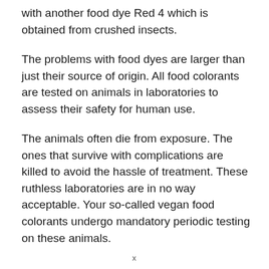with another food dye Red 4 which is obtained from crushed insects.
The problems with food dyes are larger than just their source of origin. All food colorants are tested on animals in laboratories to assess their safety for human use.
The animals often die from exposure. The ones that survive with complications are killed to avoid the hassle of treatment. These ruthless laboratories are in no way acceptable. Your so-called vegan food colorants undergo mandatory periodic testing on these animals.
x